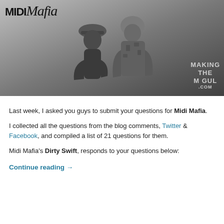[Figure (photo): Black and white photo of two men (Midi Mafia). One wearing a bucket hat, the other in a patterned hoodie. 'MIDI Mafia' logo/text at top left. Watermark 'MAKING THE MOGUL .com' at bottom right.]
Last week, I asked you guys to submit your questions for Midi Mafia.
I collected all the questions from the blog comments, Twitter & Facebook, and compiled a list of 21 questions for them.
Midi Mafia's Dirty Swift, responds to your questions below:
Continue reading →